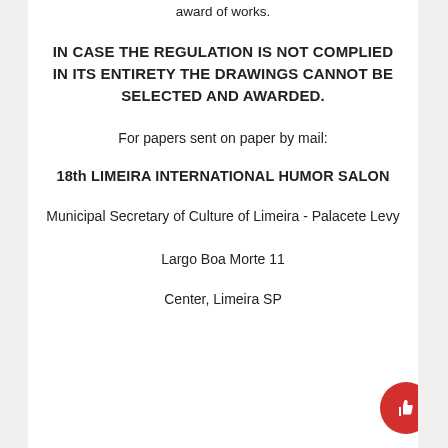award of works.
IN CASE THE REGULATION IS NOT COMPLIED IN ITS ENTIRETY THE DRAWINGS CANNOT BE SELECTED AND AWARDED.
For papers sent on paper by mail:
18th LIMEIRA INTERNATIONAL HUMOR SALON
Municipal Secretary of Culture of Limeira - Palacete Levy
Largo Boa Morte 11
Center, Limeira SP